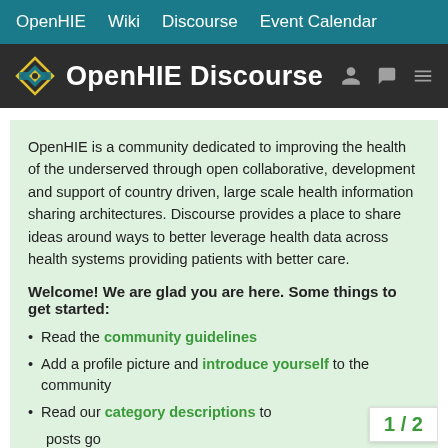OpenHIE   Wiki   Discourse   Event Calendar
OpenHIE Discourse
OpenHIE is a community dedicated to improving the health of the underserved through open collaborative, development and support of country driven, large scale health information sharing architectures. Discourse provides a place to share ideas around ways to better leverage health data across health systems providing patients with better care.
Welcome! We are glad you are here. Some things to get started:
Read the community guidelines
Add a profile picture and introduce yourself to the community
Read our category descriptions to...
1 / 2